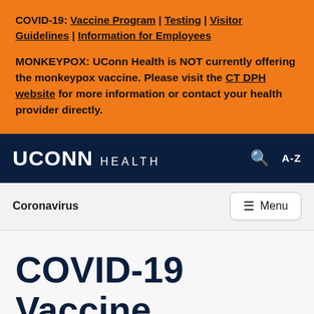COVID-19: Vaccine Program | Testing | Visitor Guidelines | Information for Employees
MONKEYPOX: UConn Health is NOT currently offering the monkeypox vaccine. Please visit the CT DPH website for more information or contact your health provider directly.
UCONN HEALTH
Coronavirus
COVID-19 Vaccine Program